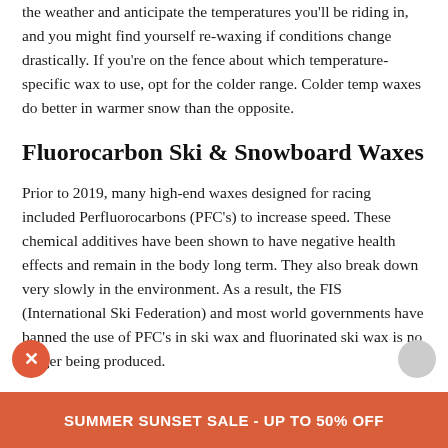the weather and anticipate the temperatures you'll be riding in, and you might find yourself re-waxing if conditions change drastically. If you're on the fence about which temperature-specific wax to use, opt for the colder range. Colder temp waxes do better in warmer snow than the opposite.
Fluorocarbon Ski & Snowboard Waxes
Prior to 2019, many high-end waxes designed for racing included Perfluorocarbons (PFC's) to increase speed. These chemical additives have been shown to have negative health effects and remain in the body long term. They also break down very slowly in the environment. As a result, the FIS (International Ski Federation) and most world governments have banned the use of PFC's in ski wax and fluorinated ski wax is no longer being produced.
With the FIS banning fluorinated waxes in 2021, all
SUMMER SUNSET SALE - UP TO 50% OFF